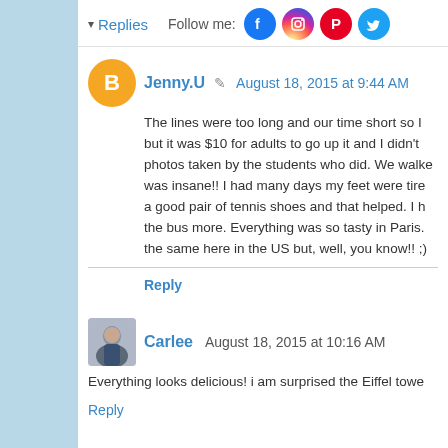▾ Replies  Follow me:  [Facebook] [Instagram] [Pinterest] [Twitter]
Jenny.U  ✎  August 18, 2015 at 9:44 AM
The lines were too long and our time short so I... but it was $10 for adults to go up it and I didn't... photos taken by the students who did. We walke... was insane!! I had many days my feet were tire... a good pair of tennis shoes and that helped. I h... the bus more. Everything was so tasty in Paris... the same here in the US but, well, you know!! ;)
Reply
Carlee  August 18, 2015 at 10:16 AM
Everything looks delicious! i am surprised the Eiffel towe...
Reply
rwpusey  August 19, 2015 at 10:07 AM